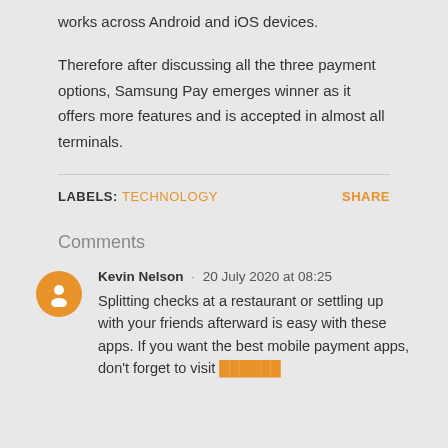works across Android and iOS devices.
Therefore after discussing all the three payment options, Samsung Pay emerges winner as it offers more features and is accepted in almost all terminals.
LABELS: TECHNOLOGY    SHARE
Comments
Kevin Nelson · 20 July 2020 at 08:25
Splitting checks at a restaurant or settling up with your friends afterward is easy with these apps. If you want the best mobile payment apps, don't forget to visit ██████